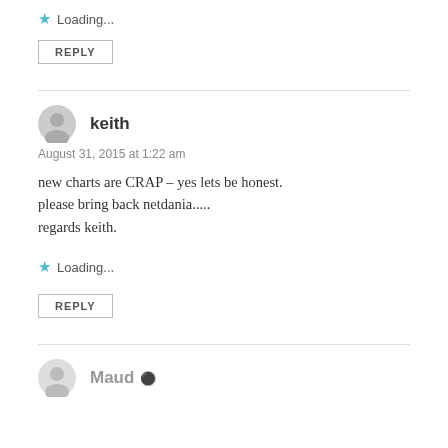Loading...
REPLY
keith
August 31, 2015 at 1:22 am
new charts are CRAP – yes lets be honest. please bring back netdania..... regards keith.
Loading...
REPLY
Maud